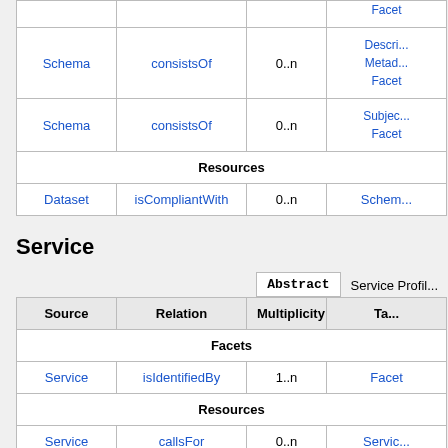| Source | Relation | Multiplicity | Target |
| --- | --- | --- | --- |
| Schema | consistsOf | 0..n | DescriptionMetadataFacet |
| Schema | consistsOf | 0..n | SubjectFacet |
| Resources |  |  |  |
| Dataset | isCompliantWith | 0..n | Schema |
Service
| Source | Relation | Multiplicity | Target |
| --- | --- | --- | --- |
| Facets |  |  |  |
| Service | isIdentifiedBy | 1..n | Facet |
| Resources |  |  |  |
| Service | callsFor | 0..n | Service... |
| Service | isCustomizedBy | 0..n | Config... |
| Service | manages | 0..n | Dataset... |
| Software | requires | 0..n | Service... |